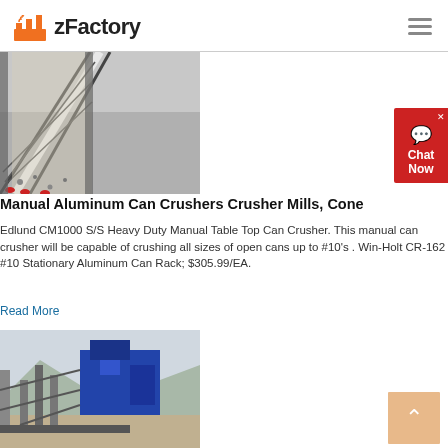zFactory
[Figure (photo): Industrial conveyor belt system on a construction or mining site, viewed from ground level looking up along the belt with gravel/aggregate material visible. Gray cloudy sky background.]
Manual Aluminum Can Crushers Crusher Mills, Cone
Edlund CM1000 S/S Heavy Duty Manual Table Top Can Crusher. This manual can crusher will be capable of crushing all sizes of open cans up to #10's . Win-Holt CR-162 #10 Stationary Aluminum Can Rack; $305.99/EA.
Read More
[Figure (photo): Industrial crushing or mining equipment setup outdoors with mountains in background. Blue machinery and metal framework structures visible.]